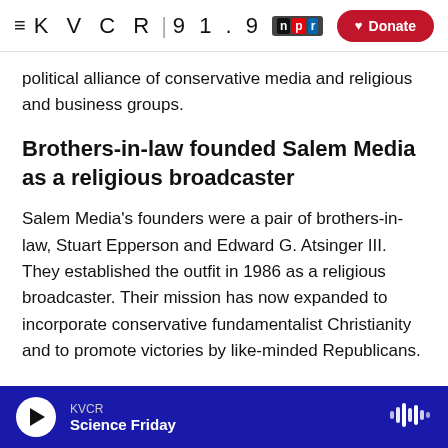KVCR 91.9 npr | Donate
political alliance of conservative media and religious and business groups.
Brothers-in-law founded Salem Media as a religious broadcaster
Salem Media's founders were a pair of brothers-in-law, Stuart Epperson and Edward G. Atsinger III. They established the outfit in 1986 as a religious broadcaster. Their mission has now expanded to incorporate conservative fundamentalist Christianity and to promote victories by like-minded Republicans.
KVCR | Science Friday